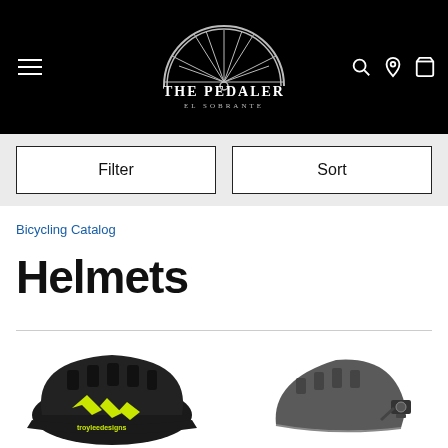[Figure (logo): The Pedaler El Sobrante bicycle shop logo — white bicycle wheel on black background with store name]
Filter
Sort
Bicycling Catalog
Helmets
[Figure (photo): Dark/black mountain bike helmet with neon yellow Troy Lee Designs logo and graphics, shown at an angle]
[Figure (photo): Dark gray/charcoal bicycle helmet viewed from the side, showing buckle mechanism]